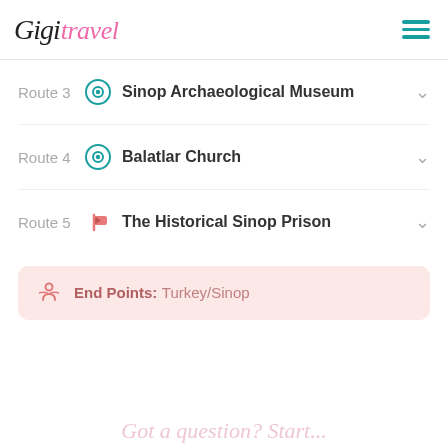GigiTravel
Route 3  Sinop Archaeological Museum
Route 4  Balatlar Church
Route 5  The Historical Sinop Prison
End Points: Turkey/Sinop
Got a question? Start...